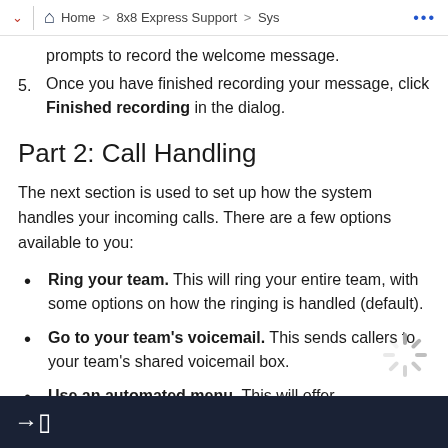Home > 8x8 Express Support > Sys ...
prompts to record the welcome message.
Once you have finished recording your message, click Finished recording in the dialog.
Part 2: Call Handling
The next section is used to set up how the system handles your incoming calls. There are a few options available to you:
Ring your team. This will ring your entire team, with some options on how the ringing is handled (default).
Go to your team's voicemail. This sends callers to your team's shared voicemail box.
Use an automated menu. This will offer